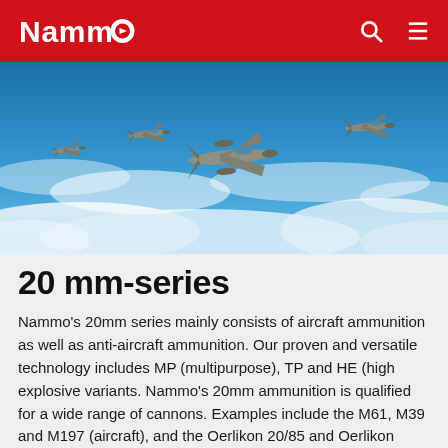Nammo
[Figure (photo): Formation of four fighter jets (F-15 type) flying over clouds against a blue sky, viewed from slightly above and behind.]
20 mm-series
Nammo's 20mm series mainly consists of aircraft ammunition as well as anti-aircraft ammunition. Our proven and versatile technology includes MP (multipurpose), TP and HE (high explosive variants. Nammo's 20mm ammunition is qualified for a wide range of cannons. Examples include the M61, M39 and M197 (aircraft), and the Oerlikon 20/85 and Oerlikon 20/120 (anti-aircraft).